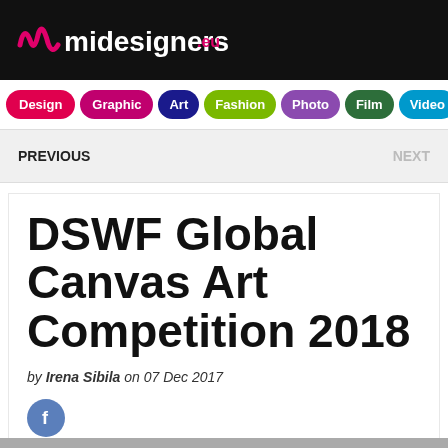midesigners.eu
Design
Graphic
Art
Fashion
Photo
Film
Video
Music
PREVIOUS    NEXT
DSWF Global Canvas Art Competition 2018
by Irena Sibila on 07 Dec 2017
[Figure (logo): Facebook share button icon]